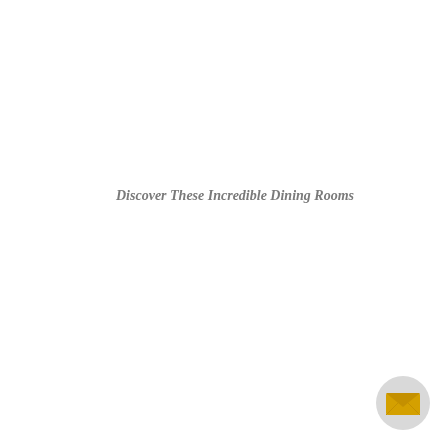Discover These Incredible Dining Rooms
[Figure (illustration): A golden/yellow envelope icon centered inside a light gray circle, positioned in the bottom-right corner of the page.]